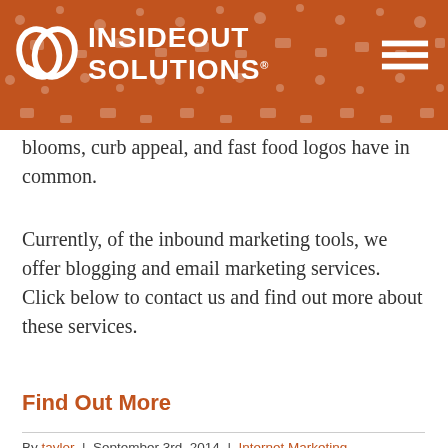[Figure (logo): InsideOut Solutions logo on orange patterned header banner with hamburger menu icon]
blooms, curb appeal, and fast food logos have in common.
Currently, of the inbound marketing tools, we offer blogging and email marketing services. Click below to contact us and find out more about these services.
Find Out More
By taylor | September 3rd, 2014 | Internet Marketing
InsideOut Solutions | 1271 Three Crabs Rd. Sequ